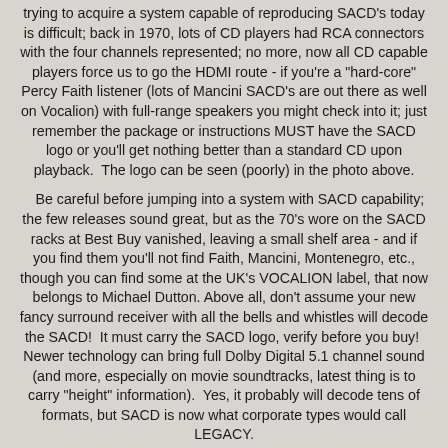trying to acquire a system capable of reproducing SACD's today is difficult; back in 1970, lots of CD players had RCA connectors with the four channels represented; no more, now all CD capable players force us to go the HDMI route - if you're a "hard-core" Percy Faith listener (lots of Mancini SACD's are out there as well on Vocalion) with full-range speakers you might check into it; just remember the package or instructions MUST have the SACD logo or you'll get nothing better than a standard CD upon playback.  The logo can be seen (poorly) in the photo above.
Be careful before jumping into a system with SACD capability; the few releases sound great, but as the 70's wore on the SACD racks at Best Buy vanished, leaving a small shelf area - and if you find them you'll not find Faith, Mancini, Montenegro, etc., though you can find some at the UK's VOCALION label, that now belongs to Michael Dutton. Above all, don't assume your new fancy surround receiver with all the bells and whistles will decode the SACD!  It must carry the SACD logo, verify before you buy!  Newer technology can bring full Dolby Digital 5.1 channel sound (and more, especially on movie soundtracks, latest thing is to carry "height" information).  Yes, it probably will decode tens of formats, but SACD is now what corporate types would call LEGACY.